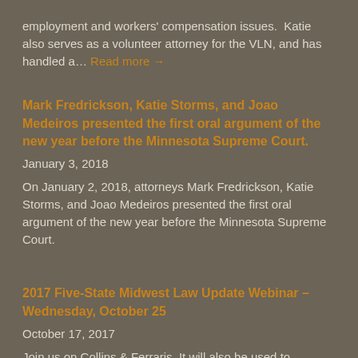employment and workers' compensation issues.  Katie also serves as a volunteer attorney for the VLN, and has handled a… Read more →
Mark Fredrickson, Katie Storms, and Joao Medeiros presented the first oral argument of the new year before the Minnesota Supreme Court.
January 3, 2018
On January 2, 2018, attorneys Mark Fredrickson, Katie Storms, and Joao Medeiros presented the first oral argument of the new year before the Minnesota Supreme Court.
2017 Five-State Midwest Law Update Webinar – Wednesday, October 25
October 17, 2017
Join us on Collins & Ferraris. It will also be used to